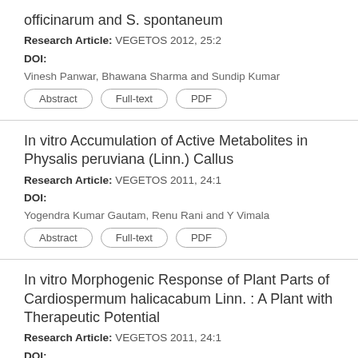officinarum and S. spontaneum
Research Article: VEGETOS 2012, 25:2
DOI:
Vinesh Panwar, Bhawana Sharma and Sundip Kumar
In vitro Accumulation of Active Metabolites in Physalis peruviana (Linn.) Callus
Research Article: VEGETOS 2011, 24:1
DOI:
Yogendra Kumar Gautam, Renu Rani and Y Vimala
In vitro Morphogenic Response of Plant Parts of Cardiospermum halicacabum Linn. : A Plant with Therapeutic Potential
Research Article: VEGETOS 2011, 24:1
DOI:
Ichha Purak and Anita Mehta